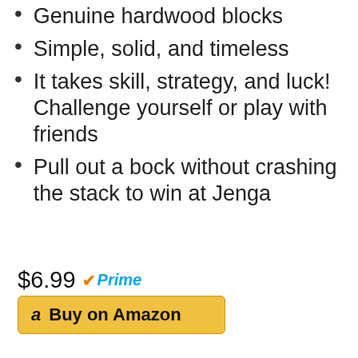Genuine hardwood blocks
Simple, solid, and timeless
It takes skill, strategy, and luck! Challenge yourself or play with friends
Pull out a bock without crashing the stack to win at Jenga
$6.99 Prime
[Figure (screenshot): Buy on Amazon button with Amazon logo]
[Figure (photo): RGB gaming mouse with honeycomb shell design, dark gray/gunmetal color, with green LED lighting]